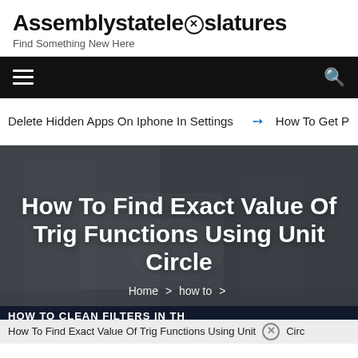Assemblystatelegislatures
Find Something New Here
[Figure (screenshot): Navigation bar with hamburger menu on left and search icon on right, black background]
Delete Hidden Apps On Iphone In Settings   → How To Get P
How To Find Exact Value Of Trig Functions Using Unit Circle
Home > how to >
HOW TO CLEAN FILTERS IN TH
How To Find Exact Value Of Trig Functions Using Unit Circle